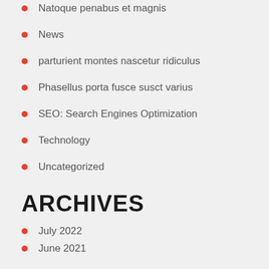Natoque penabus et magnis
News
parturient montes nascetur ridiculus
Phasellus porta fusce susct varius
SEO: Search Engines Optimization
Technology
Uncategorized
ARCHIVES
July 2022
June 2021
March 2020
September 2018